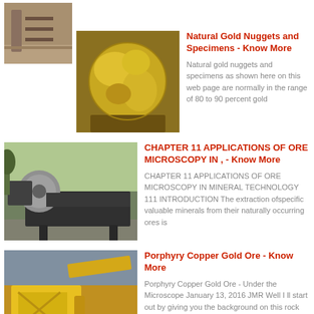[Figure (photo): Small thumbnail image of an industrial warehouse floor or facility]
[Figure (photo): Gold nugget or gold ore specimen - metallic golden colored rock]
Natural Gold Nuggets and Specimens - Know More
Natural gold nuggets and specimens as shown here on this web page are normally in the range of 80 to 90 percent gold
[Figure (photo): Industrial ore processing machine - large cylindrical roller/belt on metal frame outdoors]
CHAPTER 11 APPLICATIONS OF ORE MICROSCOPY IN , - Know More
CHAPTER 11 APPLICATIONS OF ORE MICROSCOPY IN MINERAL TECHNOLOGY 111 INTRODUCTION The extraction ofspecific valuable minerals from their naturally occurring ores is
[Figure (photo): Yellow industrial mining equipment/machinery outdoors]
Porphyry Copper Gold Ore - Know More
Porphyry Copper Gold Ore - Under the Microscope January 13, 2016 JMR Well I ll start out by giving you the background on this rock sample It comes from a section of New Brunswick where Gold and Copper